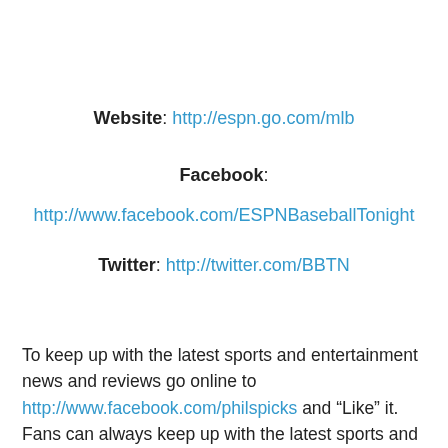Website: http://espn.go.com/mlb
Facebook: http://www.facebook.com/ESPNBaseballTonight
Twitter: http://twitter.com/BBTN
To keep up with the latest sports and entertainment news and reviews go online to http://www.facebook.com/philspicks and “Like” it.  Fans can always keep up with the latest sports and